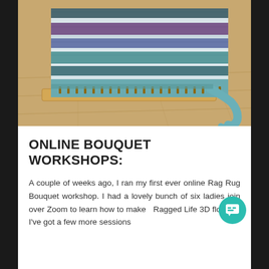[Figure (photo): A loom with a colorful rag rug in progress showing stripes of blue, purple, teal, and white wool/fabric strips. The loom is wooden with pegs, resting on a light wood floor. A strip of teal felt hangs off the edge.]
ONLINE BOUQUET WORKSHOPS:
A couple of weeks ago, I ran my first ever online Rag Rug Bouquet workshop. I had a lovely bunch of six ladies join over Zoom to learn how to make Ragged Life 3D flowers. I've got a few more sessions scheduled…